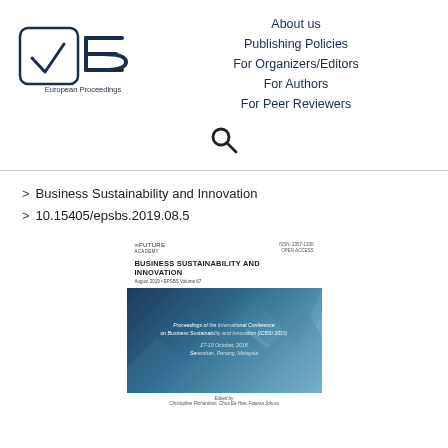[Figure (logo): European Proceedings logo with checkmark in rounded square and EP text with horizontal lines]
About us
Publishing Policies
For Organizers/Editors
For Authors
For Peer Reviewers
[Figure (other): Search icon (magnifying glass)]
Business Sustainability and Innovation
10.15405/epsbs.2019.08.5
[Figure (other): Book cover thumbnail for Business Sustainability and Innovation proceedings, August 2019, EPSBS Volume 67. Edited by Christopher Richardson, Chua Ee Hoe, Fatema Johura. Proceedings of the International Conference on Business Sustainability and Innovation (ICBSI 2018), 17-19 October 2018, Seremban, Penang, Malaysia.]